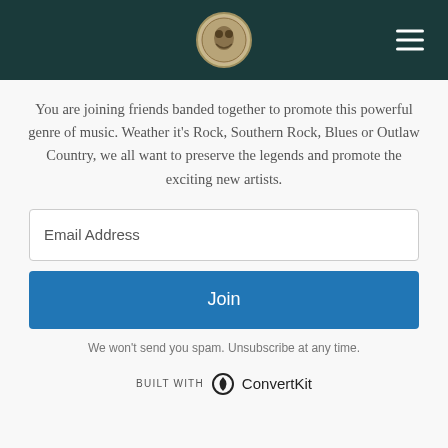Navigation header with logo and hamburger menu
You are joining friends banded together to promote this powerful genre of music. Weather it's Rock, Southern Rock, Blues or Outlaw Country, we all want to preserve the legends and promote the exciting new artists.
Email Address
Join
We won't send you spam. Unsubscribe at any time.
BUILT WITH ConvertKit